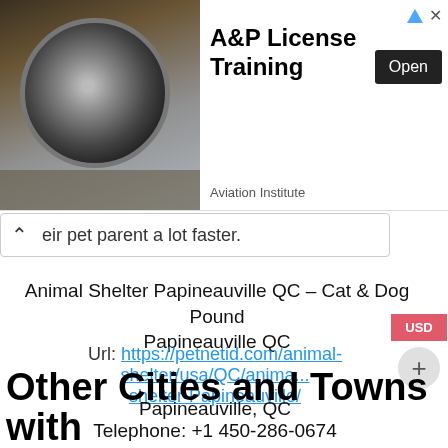[Figure (screenshot): Advertisement banner for A&P License Training by Aviation Institute, showing jet engine image on the left and text with Open button on the right]
eir pet parent a lot faster.
Animal Shelter Papineauville QC – Cat & Dog Pound Papineauville QC
Url: https://petnetid.com/animal-shelter/usa/QC/animal-shelter-Papineauville/
Papineauville, QC
Telephone: +1 450-286-0674
Price Range: $
Other Cities and Towns with